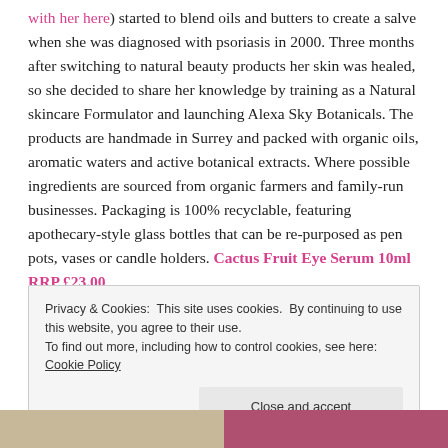with her here) started to blend oils and butters to create a salve when she was diagnosed with psoriasis in 2000. Three months after switching to natural beauty products her skin was healed, so she decided to share her knowledge by training as a Natural skincare Formulator and launching Alexa Sky Botanicals. The products are handmade in Surrey and packed with organic oils, aromatic waters and active botanical extracts. Where possible ingredients are sourced from organic farmers and family-run businesses. Packaging is 100% recyclable, featuring apothecary-style glass bottles that can be re-purposed as pen pots, vases or candle holders. Cactus Fruit Eye Serum 10ml RRP £23.00
Privacy & Cookies: This site uses cookies. By continuing to use this website, you agree to their use. To find out more, including how to control cookies, see here: Cookie Policy
Close and accept